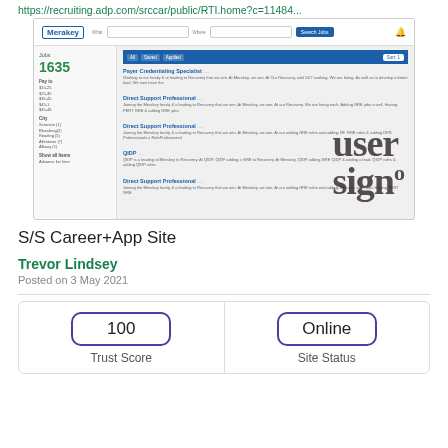https://recruiting.adp.com/srccar/public/RTI.home?c=11484...
[Figure (screenshot): Screenshot of a Merakey career site showing job listings including Payer Credentialing Specialist, Direct Support Professional, QIDP, and another Direct Support Professional, with a sidebar showing 1635 jobs. A watermark overlay reads 'user signo'.]
S/S Career+App Site
Trevor Lindsey
Posted on 3 May 2021
| Trust Score | Site Status |
| --- | --- |
| 100 | Online |